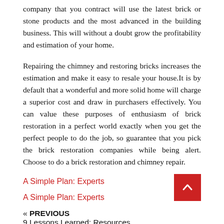company that you contract will use the latest brick or stone products and the most advanced in the building business. This will without a doubt grow the profitability and estimation of your home.
Repairing the chimney and restoring bricks increases the estimation and make it easy to resale your house.It is by default that a wonderful and more solid home will charge a superior cost and draw in purchasers effectively. You can value these purposes of enthusiasm of brick restoration in a perfect world exactly when you get the perfect people to do the job, so guarantee that you pick the brick restoration companies while being alert. Choose to do a brick restoration and chimney repair.
A Simple Plan: Experts
A Simple Plan: Experts
« PREVIOUS
9 Lessons Learned: Resources